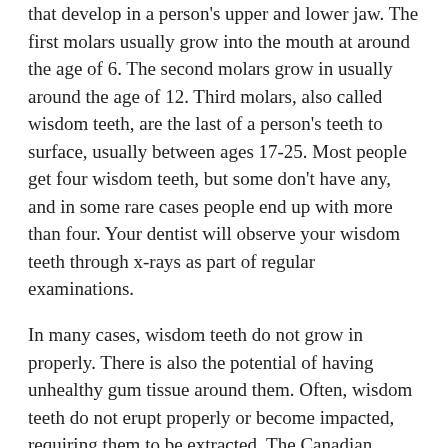that develop in a person's upper and lower jaw. The first molars usually grow into the mouth at around the age of 6. The second molars grow in usually around the age of 12. Third molars, also called wisdom teeth, are the last of a person's teeth to surface, usually between ages 17-25. Most people get four wisdom teeth, but some don't have any, and in some rare cases people end up with more than four. Your dentist will observe your wisdom teeth through x-rays as part of regular examinations.
In many cases, wisdom teeth do not grow in properly. There is also the potential of having unhealthy gum tissue around them. Often, wisdom teeth do not erupt properly or become impacted, requiring them to be extracted. The Canadian Association of Oral & Maxillofacial Surgeons (CAOMS) states that 85% of people with wisdom teeth will eventually have to have them removed. Left untreated impacted teeth can cause a host of